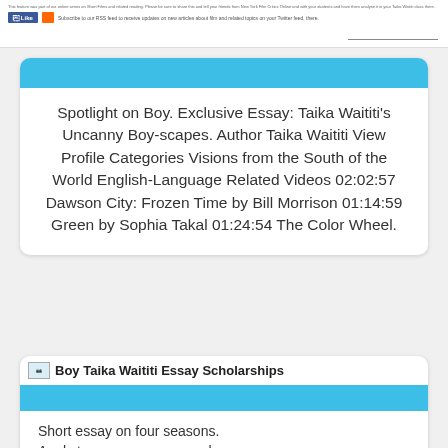This feature was part of our online series on Short Films and related reading. Please be sure to share this and tell your friends from New York Film Critics Online and with your students and have them analyse it in your Taika Waititi class there.
Spotlight on Boy. Exclusive Essay: Taika Waititi's Uncanny Boy-scapes. Author Taika Waititi View Profile Categories Visions from the South of the World English-Language Related Videos 02:02:57 Dawson City: Frozen Time by Bill Morrison 01:14:59 Green by Sophia Takal 01:24:54 The Color Wheel.
[Figure (screenshot): Boy Taika Waititi Essay Scholarships header image with small thumbnail]
Short essay on four seasons. Apply texas essay a examples